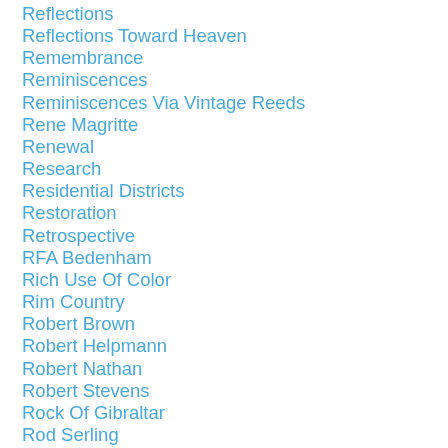Reflections
Reflections Toward Heaven
Remembrance
Reminiscences
Reminiscences Via Vintage Reeds
Rene Magritte
Renewal
Research
Residential Districts
Restoration
Retrospective
RFA Bedenham
Rich Use Of Color
Rim Country
Robert Brown
Robert Helpmann
Robert Nathan
Robert Stevens
Rock Of Gibraltar
Rod Serling
Roger Eddy